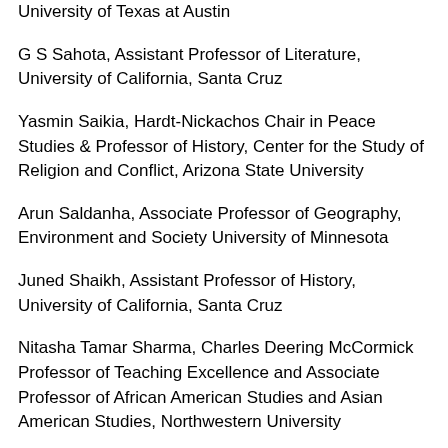University of Texas at Austin
G S Sahota, Assistant Professor of Literature, University of California, Santa Cruz
Yasmin Saikia, Hardt-Nickachos Chair in Peace Studies & Professor of History, Center for the Study of Religion and Conflict, Arizona State University
Arun Saldanha, Associate Professor of Geography, Environment and Society University of Minnesota
Juned Shaikh, Assistant Professor of History, University of California, Santa Cruz
Nitasha Tamar Sharma, Charles Deering McCormick Professor of Teaching Excellence and Associate Professor of African American Studies and Asian American Studies, Northwestern University